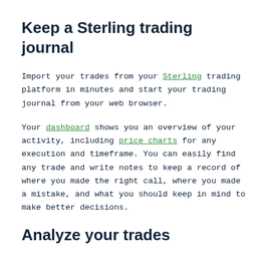Keep a Sterling trading journal
Import your trades from your Sterling trading platform in minutes and start your trading journal from your web browser.
Your dashboard shows you an overview of your activity, including price charts for any execution and timeframe. You can easily find any trade and write notes to keep a record of where you made the right call, where you made a mistake, and what you should keep in mind to make better decisions.
Analyze your trades